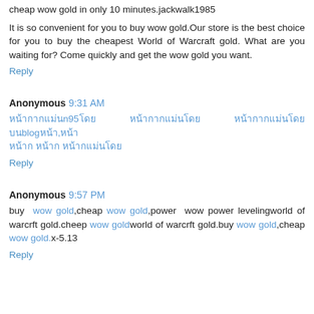cheap wow gold in only 10 minutes.jackwalk1985
It is so convenient for you to buy wow gold.Our store is the best choice for you to buy the cheapest World of Warcraft gold. What are you waiting for? Come quickly and get the wow gold you want.
Reply
Anonymous 9:31 AM
[Thai text with links including n95 and blog references]
Reply
Anonymous 9:57 PM
buy wow gold,cheap wow gold,power wow power levelingworld of warcrft gold.cheep wow goldworld of warcrft gold.buy wow gold,cheap wow gold.x-5.13
Reply